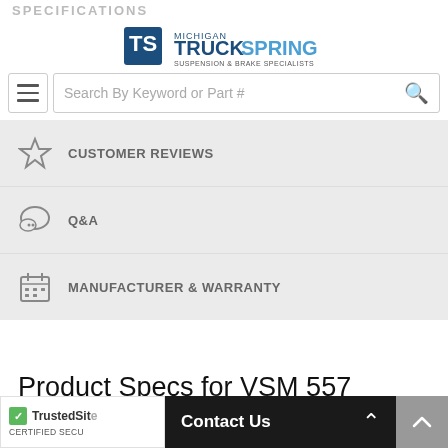SPECIFICATIONS
[Figure (logo): Michigan TruckSpring logo - suspension & brake specialists]
Search By Keyword or Part #
CUSTOMER REVIEWS
Q&A
MANUFACTURER & WARRANTY
Product Specs for VSM 557
Pins: 2